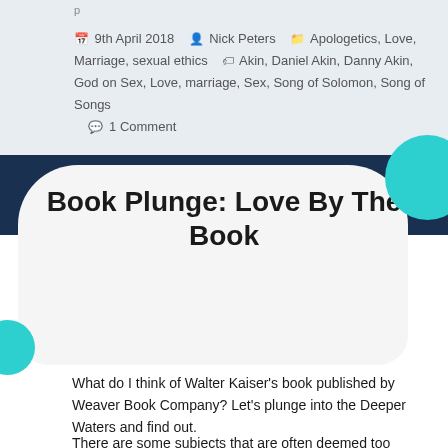p
9th April 2018  Nick Peters  Apologetics, Love, Marriage, sexual ethics  Akin, Daniel Akin, Danny Akin, God on Sex, Love, marriage, Sex, Song of Solomon, Song of Songs  1 Comment
Book Plunge: Love By The Book
What do I think of Walter Kaiser’s book published by Weaver Book Company? Let’s plunge into the Deeper Waters and find out.
There are some subjects that are often deemed too risque to talk about at church. One of those is sex. This is quite unusual